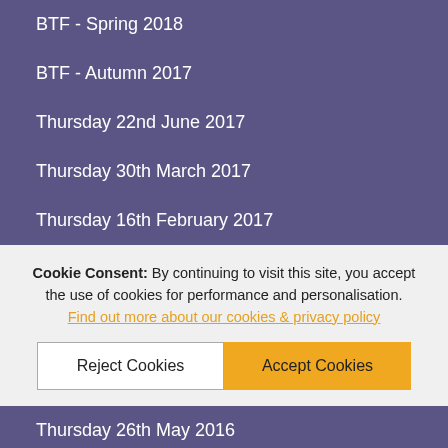BTF - Spring 2018
BTF - Autumn 2017
Thursday 22nd June 2017
Thursday 30th March 2017
Thursday 16th February 2017
Cookie Consent: By continuing to visit this site, you accept the use of cookies for performance and personalisation. Find out more about our cookies & privacy policy
Thursday 26th May 2016